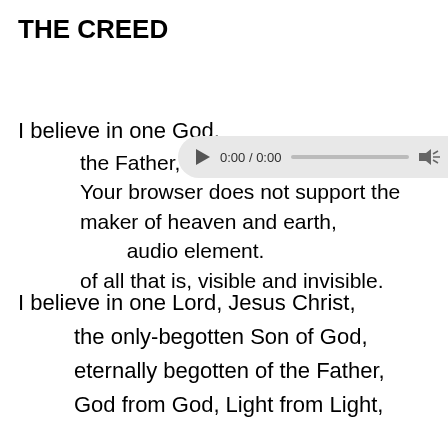THE CREED
[Figure (screenshot): Audio player widget showing 0:00 / 0:00 with play button, progress bar, volume icon, and menu dots. Accompanied by a menu/hamburger icon button to the right.]
I believe in one God,
    the Father, the Almighty,
    Your browser does not support the
    maker of heaven and earth,
        audio element.
    of all that is, visible and invisible.
I believe in one Lord, Jesus Christ,
    the only-begotten Son of God,
    eternally begotten of the Father,
    God from God, Light from Light,